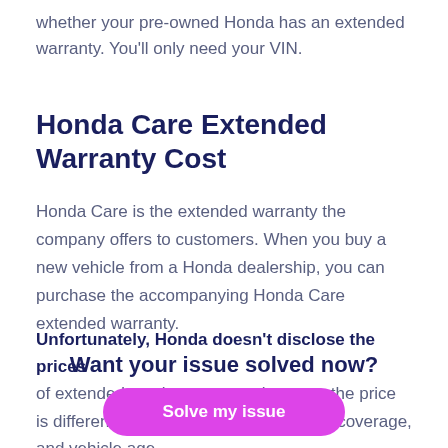whether your pre-owned Honda has an extended warranty. You'll only need your VIN.
Honda Care Extended Warranty Cost
Honda Care is the extended warranty the company offers to customers. When you buy a new vehicle from a Honda dealership, you can purchase the accompanying Honda Care extended warranty.
Unfortunately, Honda doesn't disclose the prices of extended service contracts because the price is different at each dealership based on coverage, and vehicle age.
Want your issue solved now?
Solve my issue